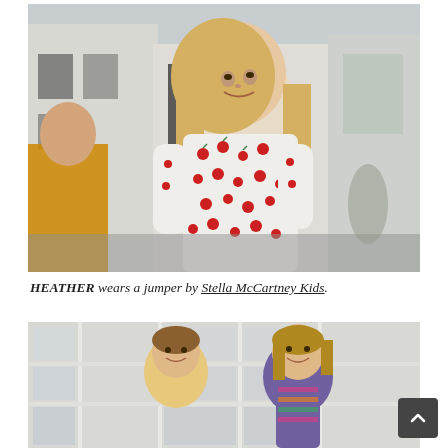[Figure (photo): A young blonde girl wearing a white jumper with red cherry/floral pattern, smiling while looking upward, photographed outdoors on a European street with white buildings in the background. Another child in a yellow/orange sweater is partially visible on the left.]
HEATHER wears a jumper by Stella McCartney Kids.
[Figure (photo): Two children photographed outdoors in front of white-framed windows/doors. A boy on the left wearing a yellow/mustard top, and a girl on the right wearing a colorful patterned top, both smiling. A dark scroll-to-top button is visible in the bottom right corner.]